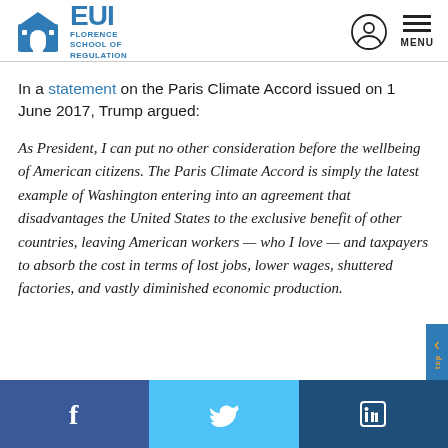EUI Florence School of Regulation
In a statement on the Paris Climate Accord issued on 1 June 2017, Trump argued:
As President, I can put no other consideration before the wellbeing of American citizens. The Paris Climate Accord is simply the latest example of Washington entering into an agreement that disadvantages the United States to the exclusive benefit of other countries, leaving American workers — who I love — and taxpayers to absorb the cost in terms of lost jobs, lower wages, shuttered factories, and vastly diminished economic production.
Facebook Twitter LinkedIn top